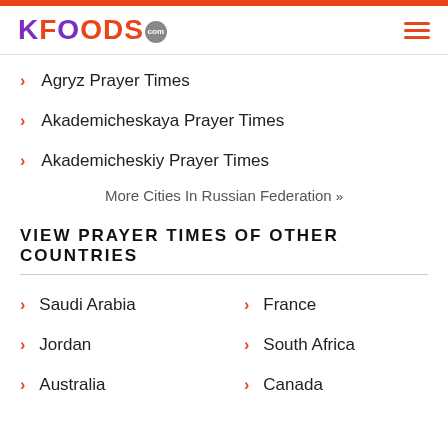KFOODS.com
Agryz Prayer Times
Akademicheskaya Prayer Times
Akademicheskiy Prayer Times
More Cities In Russian Federation »
VIEW PRAYER TIMES OF OTHER COUNTRIES
Saudi Arabia
France
Jordan
South Africa
Australia
Canada